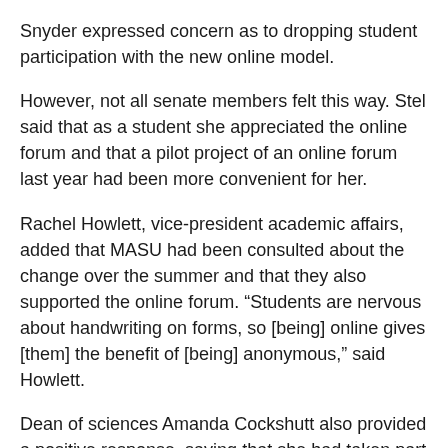Snyder expressed concern as to dropping student participation with the new online model.
However, not all senate members felt this way. Stel said that as a student she appreciated the online forum and that a pilot project of an online forum last year had been more convenient for her.
Rachel Howlett, vice-president academic affairs, added that MASU had been consulted about the change over the summer and that they also supported the online forum. “Students are nervous about handwriting on forms, so [being] online gives [them] the benefit of [being] anonymous,” said Howlett.
Dean of sciences Amanda Cockshutt also provided a positive response, saying that she had taken part in an online evaluation pilot project for years and had received responses in the 86 per cent range: “that average is higher than when I did them on paper years ago.”